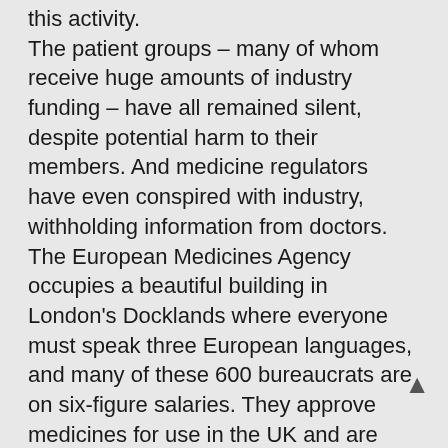this activity. The patient groups – many of whom receive huge amounts of industry funding – have all remained silent, despite potential harm to their members. And medicine regulators have even conspired with industry, withholding information from doctors. The European Medicines Agency occupies a beautiful building in London's Docklands where everyone must speak three European languages, and many of these 600 bureaucrats are on six-figure salaries. They approve medicines for use in the UK and are supposed to protect us from the worst excesses of drug companies. Yet they spent nearly four years withholding data on the risks and benefits of two weight-